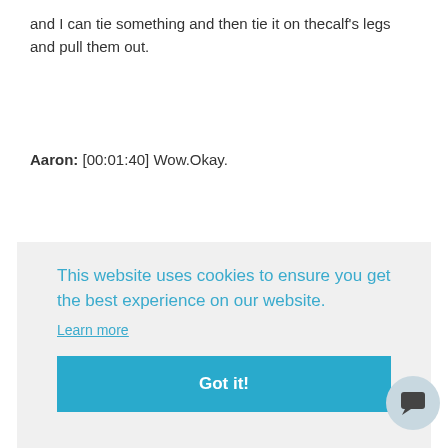and I can tie something and then tie it on thecalf's legs and pull them out.
Aaron: [00:01:40] Wow.Okay.
This website uses cookies to ensure you get the best experience on our website. Learn more Got it!